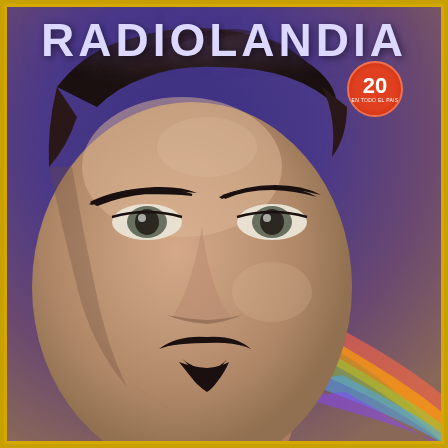RADIOLANDIA
[Figure (illustration): Magazine cover illustration of a man's face with dark hair, thick eyebrows, thin mustache, and goatee, rendered in a painterly style against a deep blue-purple background with rainbow-colored swoosh in lower right.]
20 EN TODO EL PAIS